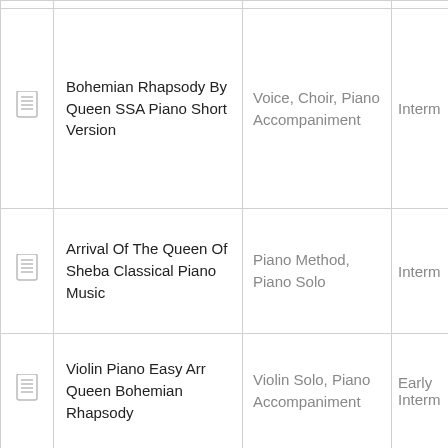|  | Title | Instruments | Level |
| --- | --- | --- | --- |
| [icon] | Bohemian Rhapsody By Queen SSA Piano Short Version | Voice, Choir, Piano Accompaniment | Interm... |
| [icon] | Arrival Of The Queen Of Sheba Classical Piano Music | Piano Method, Piano Solo | Interm... |
| [icon] | Violin Piano Easy Arr Queen Bohemian Rhapsody | Violin Solo, Piano Accompaniment | Early Interm... |
| [icon] | Bohemian |  |  |